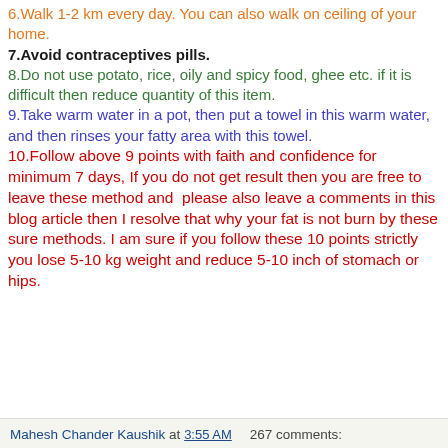6.Walk 1-2 km every day. You can also walk on ceiling of your home.
7.Avoid contraceptives pills.
8.Do not use potato, rice, oily and spicy food, ghee etc. if it is difficult then reduce quantity of this item.
9.Take warm water in a pot, then put a towel in this warm water, and then rinses your fatty area with this towel.
10.Follow above 9 points with faith and confidence for minimum 7 days, If you do not get result then you are free to leave these method and  please also leave a comments in this blog article then I resolve that why your fat is not burn by these sure methods. I am sure if you follow these 10 points strictly you lose 5-10 kg weight and reduce 5-10 inch of stomach or hips.
Mahesh Chander Kaushik at 3:55 AM    267 comments: